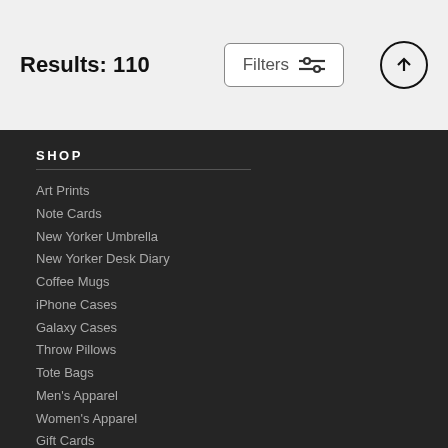Results: 110
Filters
SHOP
Art Prints
Note Cards
New Yorker Umbrella
New Yorker Desk Diary
Coffee Mugs
iPhone Cases
Galaxy Cases
Throw Pillows
Tote Bags
Men's Apparel
Women's Apparel
Gift Cards
HELP
Contact Us
Frequently Asked Questions
Return Policy
Returns